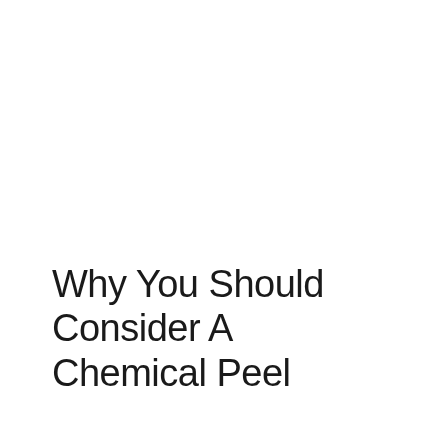Why You Should Consider A Chemical Peel